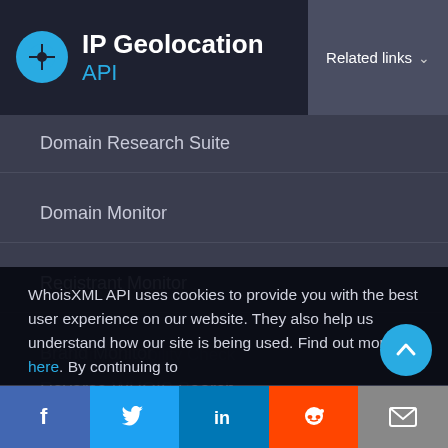IP Geolocation API
Related links
Domain Research Suite
Domain Monitor
Registrant Monitor
Brand Monitor
Reverse WHOIS Search
WHOIS History Search
WhoisXML API uses cookies to provide you with the best user experience on our website. They also help us understand how our site is being used. Find out more here. By continuing to
Reverse DNS Search
Domain Availability Check